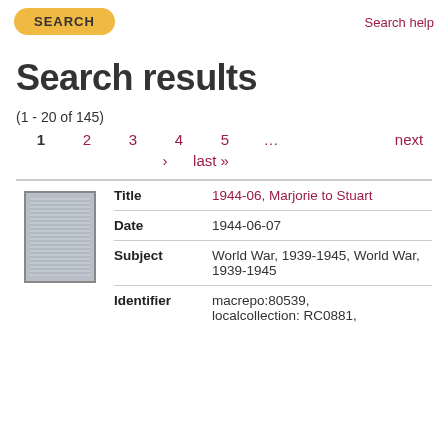Search help
SEARCH
Search results
(1 - 20 of 145)
1  2  3  4  5  ...  next  › last »
|  | Field | Value |
| --- | --- | --- |
| [thumbnail] | Title | 1944-06, Marjorie to Stuart |
|  | Date | 1944-06-07 |
|  | Subject | World War, 1939-1945, World War, 1939-1945 |
|  | Identifier | macrepo:80539, localcollection: RC0881, |